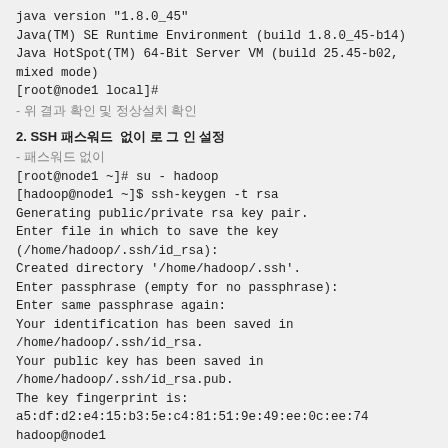java version "1.8.0_45"
Java(TM) SE Runtime Environment (build 1.8.0_45-b14)
Java HotSpot(TM) 64-Bit Server VM (build 25.45-b02, mixed mode)
[root@node1 local]#
- 위 결과 확인 및 정상설치 확인
2. SSH 패스워드  없이 로 그 인 설정
- 패스워드 없이
[root@node1 ~]# su - hadoop
[hadoop@node1 ~]$ ssh-keygen -t rsa
Generating public/private rsa key pair.
Enter file in which to save the key (/home/hadoop/.ssh/id_rsa):
Created directory '/home/hadoop/.ssh'.
Enter passphrase (empty for no passphrase):
Enter same passphrase again:
Your identification has been saved in /home/hadoop/.ssh/id_rsa.
Your public key has been saved in /home/hadoop/.ssh/id_rsa.pub.
The key fingerprint is:
a5:df:d2:e4:15:b3:5e:c4:81:51:9e:49:ee:0c:ee:74 hadoop@node1
The key's randomart image is:
+--[ RSA 2048]----+
|           .++ |